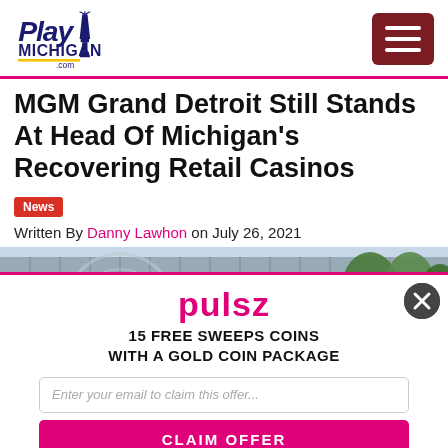PlayMichigan.com
MGM Grand Detroit Still Stands At Head Of Michigan's Recovering Retail Casinos
News
Written By Danny Lawhon on July 26, 2021
[Figure (photo): Exterior photo of MGM Grand Detroit building with glass facade and trees]
[Figure (infographic): Pulsz advertisement overlay: 15 FREE SWEEPS COINS WITH A GOLD COIN PACKAGE, email claim offer form with CLAIM OFFER button]